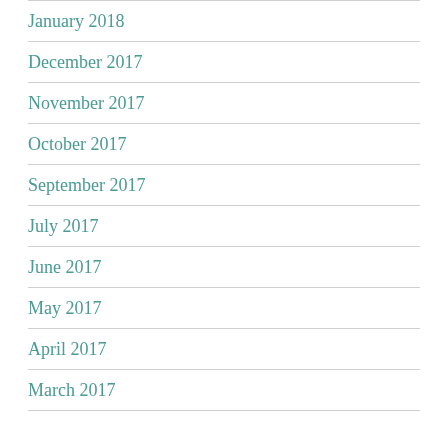January 2018
December 2017
November 2017
October 2017
September 2017
July 2017
June 2017
May 2017
April 2017
March 2017